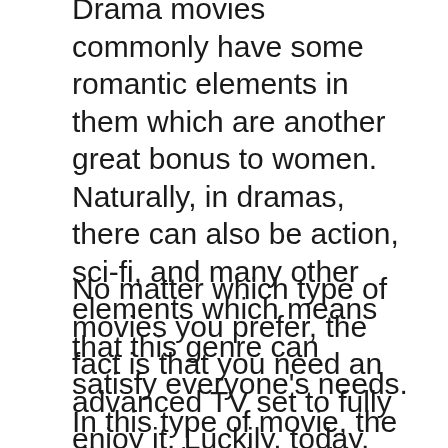Drama movies commonly have some romantic elements in them which are another great bonus to women. Naturally, in dramas, there can also be action, sci-fi, and many other elements which means that this genre can satisfy everyone's needs. In this type of movie, the director has the ability and the freedom to expand and explain the story in any direction they want. It truly is remarkable just how amazing a drama film can really be.
No matter which type of movies you prefer, the fact is that you need an advanced TV set to fully enjoy it. Luckily, today, you can easily get everything set up, with the help of companies such as tv-aerials-uk.co.uk.